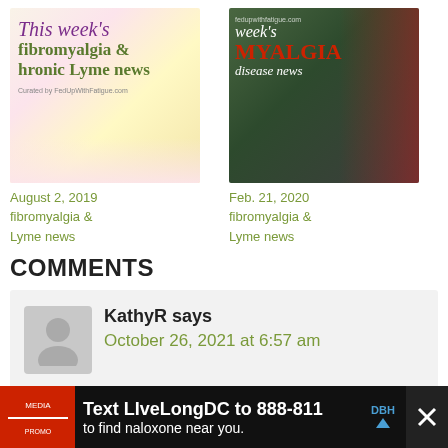[Figure (photo): Thumbnail image with flowers background and text: This week's fibromyalgia & chronic Lyme news, Curated by FedUpWithFatigue.com]
[Figure (photo): Thumbnail image with winter cardinal bird and text: week's MYALGIA disease news from fedupwithfatigue.com]
August 2, 2019
fibromyalgia &
Lyme news
Feb. 21, 2020
fibromyalgia &
Lyme news
COMMENTS
KathyR says
October 26, 2021 at 6:57 am
[Figure (infographic): Advertisement banner: Text LIveLongDC to 888-811 to find naloxone near you. DBH logo.]